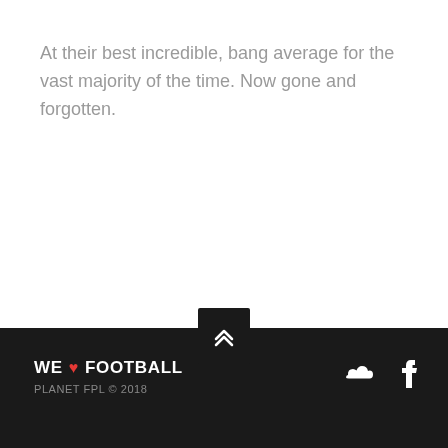At their best incredible, bang average for the vast majority of the time. Now gone and forgotten.
WE ♥ FOOTBALL
PLANET FPL © 2018